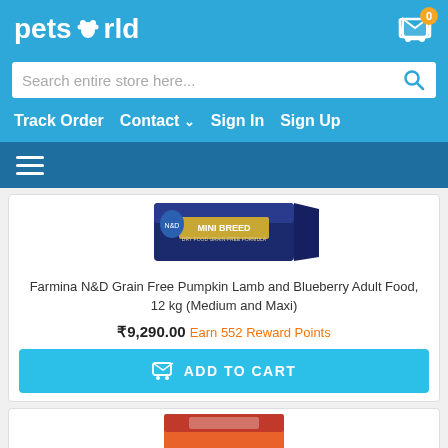petsworld
Search entire store here...
Track Order  Contact  Sign In  Sign Up
[Figure (screenshot): Hamburger menu icon on dark blue navigation bar]
[Figure (photo): Farmina N&D Grain Free Pumpkin dog food box - Mini Breed variety, navy blue packaging]
Farmina N&D Grain Free Pumpkin Lamb and Blueberry Adult Food, 12 kg (Medium and Maxi)
₹9,290.00 Earn 552 Reward Points
ADD TO CART
[Figure (photo): Partially visible product image - orange/red packaging at bottom of page]